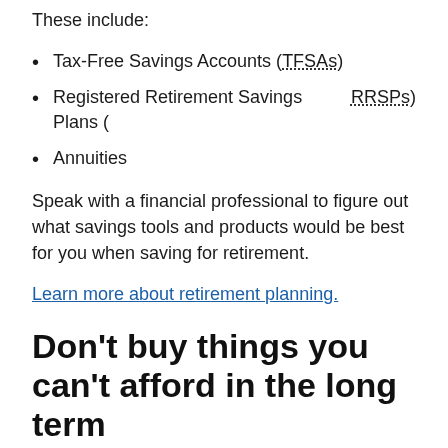These include:
Tax-Free Savings Accounts (TFSAs)
Registered Retirement Savings Plans (RRSPs)
Annuities
Speak with a financial professional to figure out what savings tools and products would be best for you when saving for retirement.
Learn more about retirement planning.
Don't buy things you can't afford in the long term